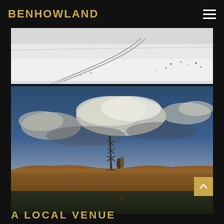BENHOWLAND
[Figure (photo): Black and white aerial or wide-angle photograph of a snow-covered flat landscape with tire tracks and scattered dark spots]
[Figure (photo): Dramatic outdoor photograph of a couple standing near an old metal structure/tower on rocky terrain beside still water, with a stormy cloudy sky and warm golden light]
A LOCAL VENUE